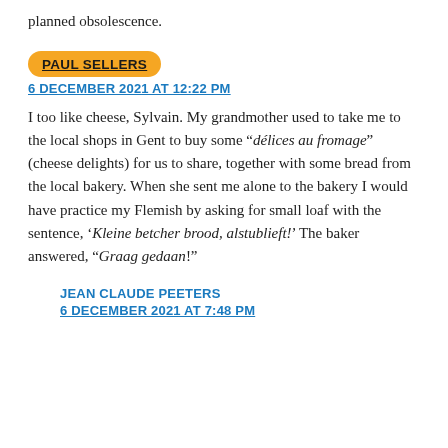planned obsolescence.
PAUL SELLERS
6 DECEMBER 2021 AT 12:22 PM
I too like cheese, Sylvain. My grandmother used to take me to the local shops in Gent to buy some “délices au fromage” (cheese delights) for us to share, together with some bread from the local bakery. When she sent me alone to the bakery I would have practice my Flemish by asking for small loaf with the sentence, ‘Kleine betcher brood, alstublieft!’ The baker answered, “Graag gedaan!”
JEAN CLAUDE PEETERS
6 DECEMBER 2021 AT 7:48 PM